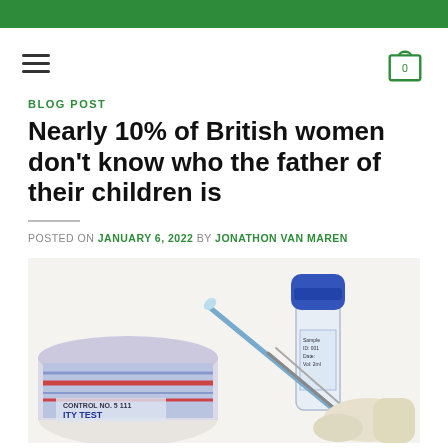Green navigation bar with hamburger menu and shopping cart (0)
BLOG POST
Nearly 10% of British women don't know who the father of their children is
POSTED ON JANUARY 6, 2022 BY JONATHON VAN MAREN
[Figure (photo): DNA paternity test kit showing a labeled specimen tube with blue cap, a cotton swab, tweezers, and packaging labeled 'CONTROL NO. 5 111' and 'ITY TEST']